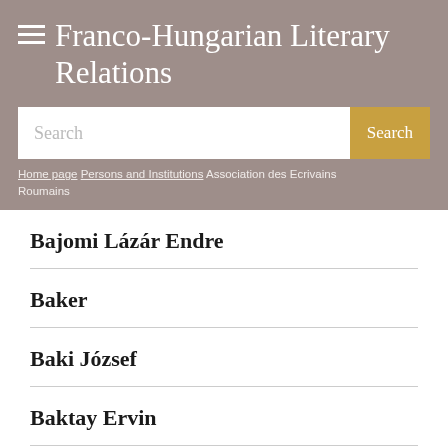Franco-Hungarian Literary Relations
Search
Home page / Persons and Institutions / Association des Ecrivains Roumains
Bajomi Lázár Endre
Baker
Baki József
Baktay Ervin